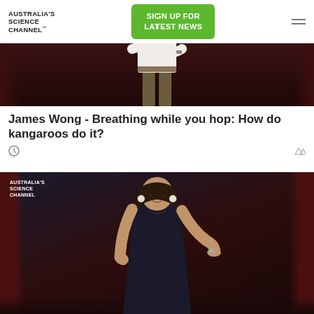AUSTRALIA'S SCIENCE CHANNEL™ | SIGN UP FOR LATEST NEWS
[Figure (photo): Person standing on stage in front of dark red curtain, wearing white shirt and brown pants, arms crossed]
James Wong - Breathing while you hop: How do kangaroos do it?
[Figure (photo): Woman with dark hair wearing a black dress standing on stage, gesturing with her right hand, Australia's Science Channel watermark in upper left]